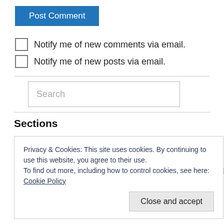Post Comment
Notify me of new comments via email.
Notify me of new posts via email.
Search
Sections
Privacy & Cookies: This site uses cookies. By continuing to use this website, you agree to their use.
To find out more, including how to control cookies, see here: Cookie Policy
Close and accept